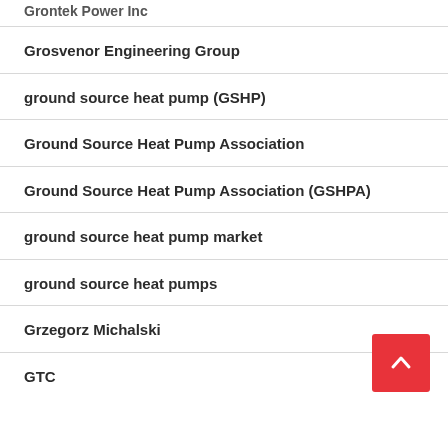Grontek Power Inc
Grosvenor Engineering Group
ground source heat pump (GSHP)
Ground Source Heat Pump Association
Ground Source Heat Pump Association (GSHPA)
ground source heat pump market
ground source heat pumps
Grzegorz Michalski
GTC